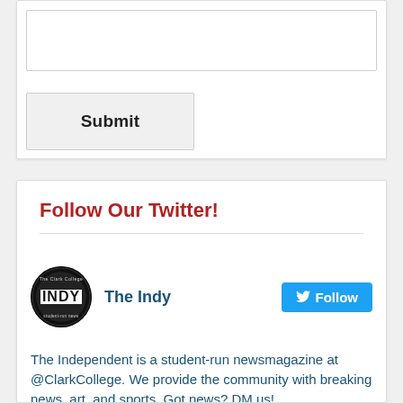[Figure (other): Text input box (form field)]
Submit
Follow Our Twitter!
[Figure (logo): The Clark College Indy logo — circular black badge with INDY text]
The Indy
Follow
The Independent is a student-run newsmagazine at @ClarkCollege. We provide the community with breaking news, art, and sports. Got news? DM us!
The Indy Retweeted